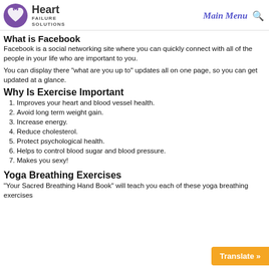Heart Failure Solutions — Main Menu
What is Facebook
Facebook is a social networking site where you can quickly connect with all of the people in your life who are important to you.
You can display there "what are you up to" updates all on one page, so you can get updated at a glance.
Why Is Exercise Important
Improves your heart and blood vessel health.
Avoid long term weight gain.
Increase energy.
Reduce cholesterol.
Protect psychological health.
Helps to control blood sugar and blood pressure.
Makes you sexy!
Yoga Breathing Exercises
"Your Sacred Breathing Hand Book" will teach you each of these yoga breathing exercises